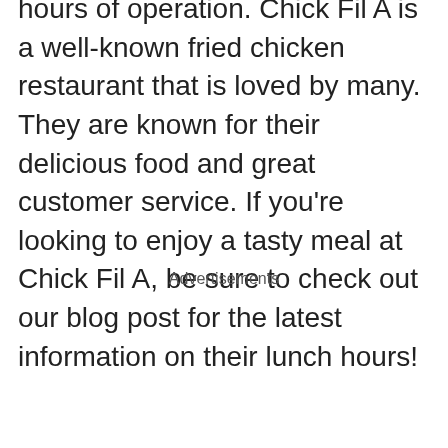hours of operation. Chick Fil A is a well-known fried chicken restaurant that is loved by many. They are known for their delicious food and great customer service. If you're looking to enjoy a tasty meal at Chick Fil A, be sure to check out our blog post for the latest information on their lunch hours!
Advertisements